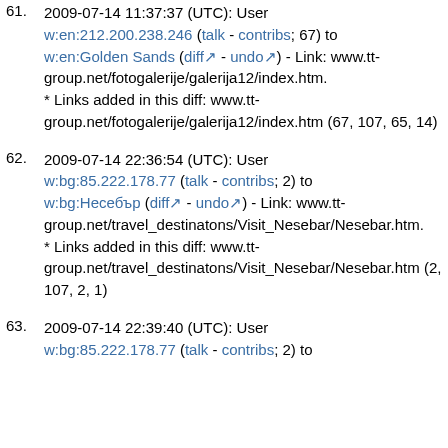61. 2009-07-14 11:37:37 (UTC): User w:en:212.200.238.246 (talk - contribs; 67) to w:en:Golden Sands (diff - undo) - Link: www.tt-group.net/fotogalerije/galerija12/index.htm.
* Links added in this diff: www.tt-group.net/fotogalerije/galerija12/index.htm (67, 107, 65, 14)
62. 2009-07-14 22:36:54 (UTC): User w:bg:85.222.178.77 (talk - contribs; 2) to w:bg:Несебър (diff - undo) - Link: www.tt-group.net/travel_destinatons/Visit_Nesebar/Nesebar.htm.
* Links added in this diff: www.tt-group.net/travel_destinatons/Visit_Nesebar/Nesebar.htm (2, 107, 2, 1)
63. 2009-07-14 22:39:40 (UTC): User w:bg:85.222.178.77 (talk - contribs; 2) to